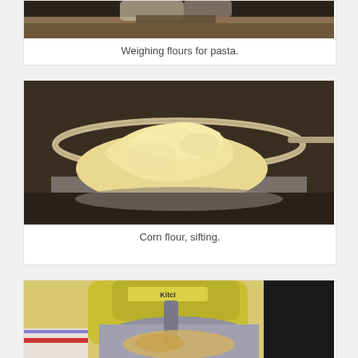[Figure (photo): Top portion of a photo showing hands weighing flours, partially cropped at the top of the page]
Weighing flours for pasta.
[Figure (photo): Corn flour in a metal sifter/strainer, showing golden yellow textured flour piled in a mesh strainer bowl]
Corn flour, sifting.
[Figure (photo): A yellow KitchenAid stand mixer with a mixing bowl containing flour and eggs, partially visible at bottom of page]